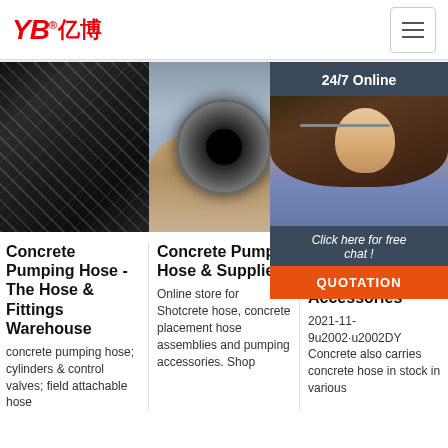YB亿博® — Navigation header with hamburger menu
[Figure (photo): Close-up of black braided hydraulic hose with diagonal wire weave pattern]
[Figure (photo): Hand holding a concrete pump hose end, showing circular cross-section]
[Figure (photo): Customer service representative with headset smiling, with 24/7 Online chat overlay and QUOTATION button]
Concrete Pumping Hose - The Hose & Fittings Warehouse
concrete pumping hose; cylinders & control valves; field attachable hose
Concrete Pump Hose & Supplies
Online store for Shotcrete hose, concrete placement hose assemblies and pumping accessories. Shop
Concrete Hose Accessories
2021-11-9u2002·u2002DY Concrete also carries concrete hose in stock in various